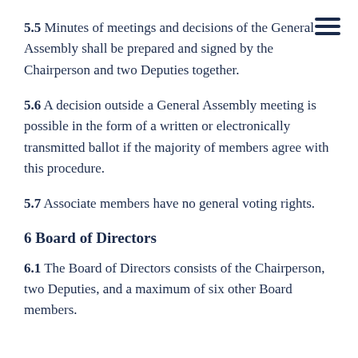5.5 Minutes of meetings and decisions of the General Assembly shall be prepared and signed by the Chairperson and two Deputies together.
5.6 A decision outside a General Assembly meeting is possible in the form of a written or electronically transmitted ballot if the majority of members agree with this procedure.
5.7 Associate members have no general voting rights.
6 Board of Directors
6.1 The Board of Directors consists of the Chairperson, two Deputies, and a maximum of six other Board members.